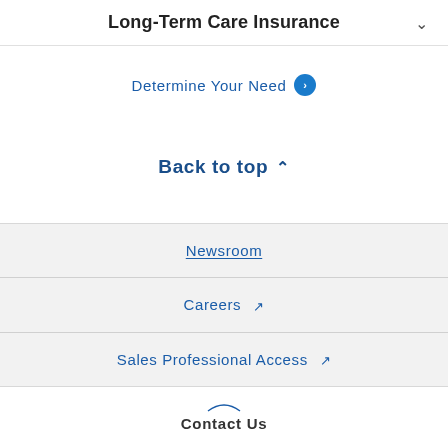Long-Term Care Insurance
Determine Your Need
Back to top
Newsroom
Careers
Sales Professional Access
Contact Us